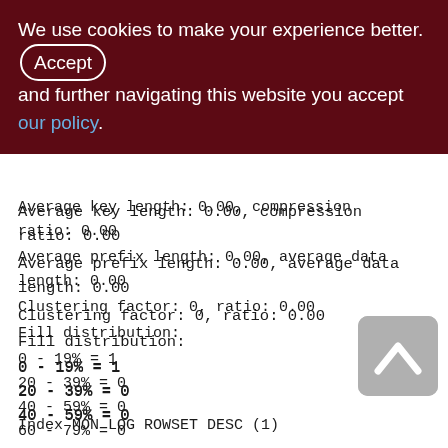We use cookies to make your experience better. By accepting and further navigating this website you accept our policy.
Average key length: 0.00, compression ratio: 0.00
Average prefix length: 0.00, average data length: 0.00
Clustering factor: 0, ratio: 0.00
Fill distribution:
0 - 19% = 1
20 - 39% = 0
40 - 59% = 0
60 - 79% = 0
80 - 99% = 0
Index MON LOG ROWSET DESC (1)